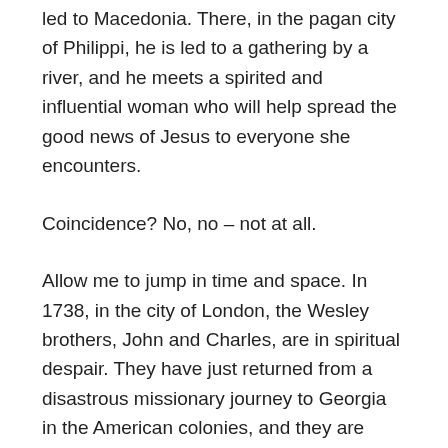Paul is turned away from Asia and Bithynia and led to Macedonia. There, in the pagan city of Philippi, he is led to a gathering by a river, and he meets a spirited and influential woman who will help spread the good news of Jesus to everyone she encounters.
Coincidence? No, no – not at all.
Allow me to jump in time and space. In 1738, in the city of London, the Wesley brothers, John and Charles, are in spiritual despair. They have just returned from a disastrous missionary journey to Georgia in the American colonies, and they are discouraged and distraught. They both preach salvation, but they cannot feel assurance of it personally. And they so much want such